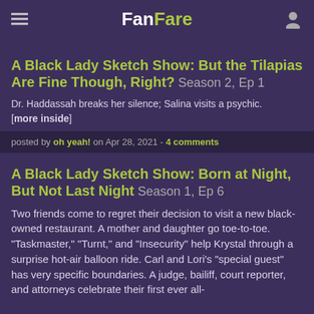FanFare
A Black Lady Sketch Show: But the Tilapias Are Fine Though, Right? Season 2, Ep 1
Dr. Haddassah breaks her silence; Salina visits a psychic.
[more inside]
posted by oh yeah! on Apr 28, 2021 - 4 comments
A Black Lady Sketch Show: Born at Night, But Not Last Night Season 1, Ep 6
Two friends come to regret their decision to visit a new black-owned restaurant. A mother and daughter go toe-to-toe. "Taskmaster," "Turnt," and "Insecurity" help Krystal through a surprise hot-air balloon ride. Carl and Lori's "special guest" has very specific boundaries. A judge, bailiff, court reporter, and attorneys celebrate their first ever all-